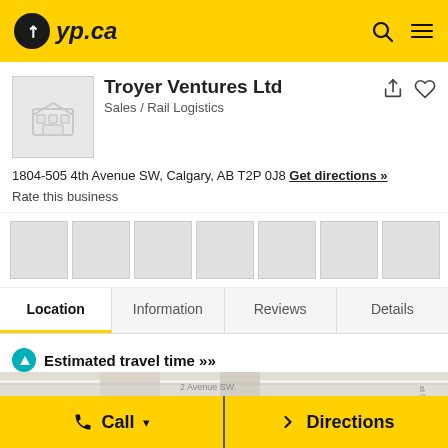[Figure (screenshot): yp.ca logo header with yellow background, search icon and hamburger menu icon]
Troyer Ventures Ltd
Sales / Rail Logistics
1804-505 4th Avenue SW, Calgary, AB T2P 0J8
Get directions »
Rate this business
[Figure (photo): Photo gallery strip with 7 empty placeholder thumbnails and an add photo button]
Location	Information	Reviews	Details
Estimated travel time >>
[Figure (map): Street map showing area near 2 Avenue SW Calgary]
Call	Directions